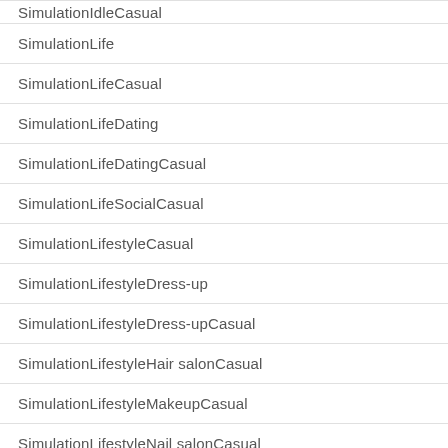SimulationIdleCasual
SimulationLife
SimulationLifeCasual
SimulationLifeDating
SimulationLifeDatingCasual
SimulationLifeSocialCasual
SimulationLifestyleCasual
SimulationLifestyleDress-up
SimulationLifestyleDress-upCasual
SimulationLifestyleHair salonCasual
SimulationLifestyleMakeupCasual
SimulationLifestyleNail salonCasual
SimulationManagement